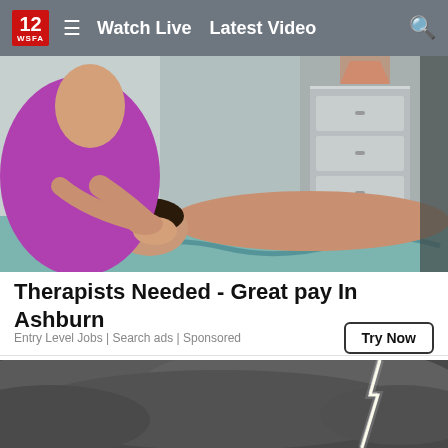12 WSFA | Watch Live | Latest Video
[Figure (photo): A massage therapist in a magenta shirt performing massage on a person lying face-up on a table covered with a teal blanket, in a room with a gray dresser in the background.]
Therapists Needed - Great pay In Ashburn
Entry Level Jobs | Search ads | Sponsored
[Figure (photo): A dark stormy sky with a bright lightning bolt striking downward, in black and white / grayscale tones.]